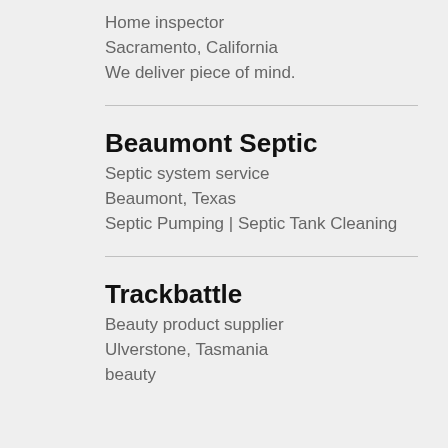Home inspector
Sacramento, California
We deliver piece of mind.
Beaumont Septic
Septic system service
Beaumont, Texas
Septic Pumping | Septic Tank Cleaning
Trackbattle
Beauty product supplier
Ulverstone, Tasmania
beauty